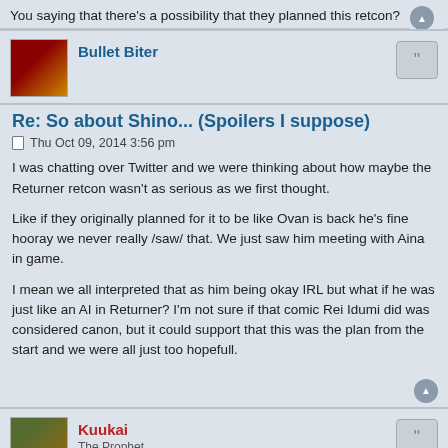You saying that there's a possibility that they planned this retcon?
Bullet Biter
Re: So about Shino... (Spoilers I suppose)
Thu Oct 09, 2014 3:56 pm
I was chatting over Twitter and we were thinking about how maybe the Returner retcon wasn't as serious as we first thought.
Like if they originally planned for it to be like Ovan is back he's fine hooray we never really /saw/ that. We just saw him meeting with Aina in game.
I mean we all interpreted that as him being okay IRL but what if he was just like an AI in Returner? I'm not sure if that comic Rei Idumi did was considered canon, but it could support that this was the plan from the start and we were all just too hopefull.
Kuukai
The Prophet
Re: So about Shino... (Spoilers I suppose)
Wed Oct 15, 2014 7:29 pm